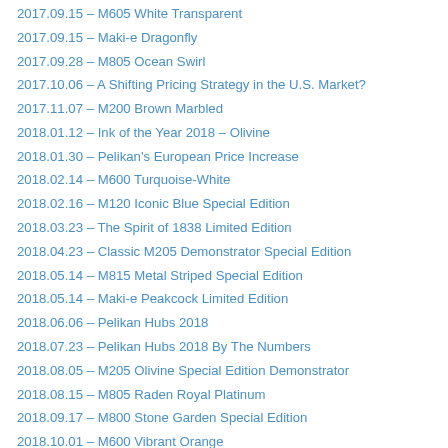2017.09.15 – M605 White Transparent
2017.09.15 – Maki-e Dragonfly
2017.09.28 – M805 Ocean Swirl
2017.10.06 – A Shifting Pricing Strategy in the U.S. Market?
2017.11.07 – M200 Brown Marbled
2018.01.12 – Ink of the Year 2018 – Olivine
2018.01.30 – Pelikan's European Price Increase
2018.02.14 – M600 Turquoise-White
2018.02.16 – M120 Iconic Blue Special Edition
2018.03.23 – The Spirit of 1838 Limited Edition
2018.04.23 – Classic M205 Demonstrator Special Edition
2018.05.14 – M815 Metal Striped Special Edition
2018.05.14 – Maki-e Peakcock Limited Edition
2018.06.06 – Pelikan Hubs 2018
2018.07.23 – Pelikan Hubs 2018 By The Numbers
2018.08.05 – M205 Olivine Special Edition Demonstrator
2018.08.15 – M805 Raden Royal Platinum
2018.09.17 – M800 Stone Garden Special Edition
2018.10.01 – M600 Vibrant Orange
2018.10.02 – Pelikan Raises U.S. Prices